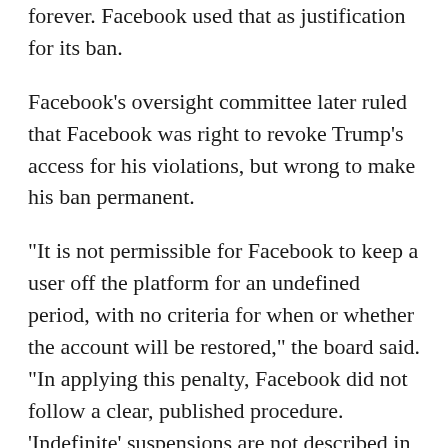forever. Facebook used that as justification for its ban.
Facebook's oversight committee later ruled that Facebook was right to revoke Trump's access for his violations, but wrong to make his ban permanent.
"It is not permissible for Facebook to keep a user off the platform for an undefined period, with no criteria for when or whether the account will be restored," the board said. "In applying this penalty, Facebook did not follow a clear, published procedure. ‘Indefinite’ suspensions are not described in the company’s content policies. Facebook’s normal penalties include removing the violating content, imposing a time-bound period of suspension, or permanently disabling the page and account."
Although the board didn’t overturn Trump’s ban, it did